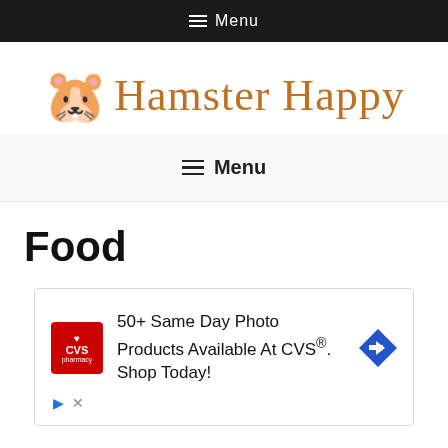≡ Menu
[Figure (logo): Hamster Happy website logo with hamster emoji and script text]
≡ Menu
Food
[Figure (infographic): CVS Pharmacy advertisement: 50+ Same Day Photo Products Available At CVS®. Shop Today!]